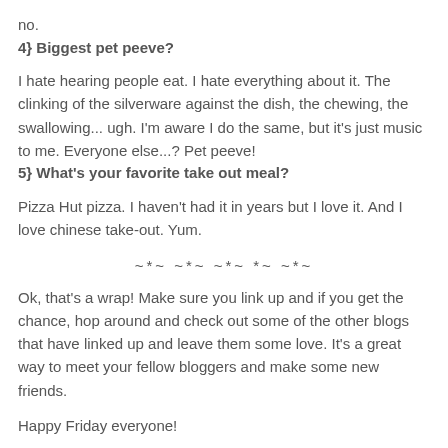no.
4} Biggest pet peeve?
I hate hearing people eat. I hate everything about it. The clinking of the silverware against the dish, the chewing, the swallowing... ugh. I'm aware I do the same, but it's just music to me. Everyone else...? Pet peeve!
5} What's your favorite take out meal?
Pizza Hut pizza. I haven't had it in years but I love it. And I love chinese take-out. Yum.
~*~ ~*~ ~*~ *~ ~*~
Ok, that's a wrap! Make sure you link up and if you get the chance, hop around and check out some of the other blogs that have linked up and leave them some love. It's a great way to meet your fellow bloggers and make some new friends.
Happy Friday everyone!